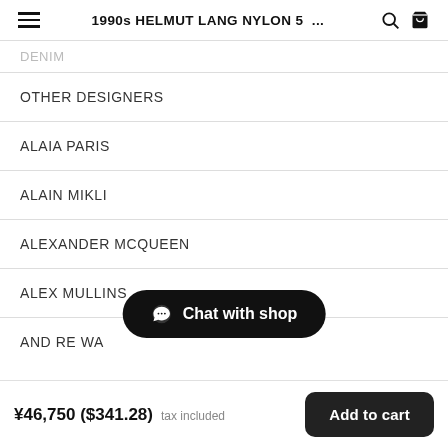1990s HELMUT LANG NYLON 5 ...
DENIM
OTHER DESIGNERS
ALAIA PARIS
ALAIN MIKLI
ALEXANDER MCQUEEN
ALEX MULLINS
AND RE WA
¥46,750 ($341.28) tax included
Add to cart